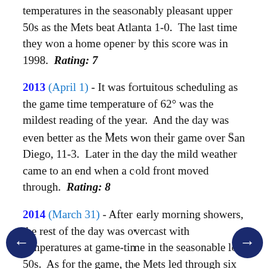temperatures in the seasonably pleasant upper 50s as the Mets beat Atlanta 1-0. The last time they won a home opener by this score was in 1998. Rating: 7
2013 (April 1) - It was fortuitous scheduling as the game time temperature of 62° was the mildest reading of the year. And the day was even better as the Mets won their game over San Diego, 11-3. Later in the day the mild weather came to an end when a cold front moved through. Rating: 8
2014 (March 31) - After early morning showers, the rest of the day was overcast with temperatures at game-time in the seasonable low 50s. As for the game, the Mets led through six innings, but the Nationals caught up and then won the game in the 10th inning